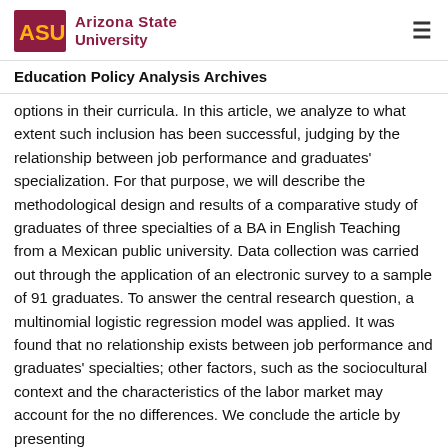ASU Arizona State University
Education Policy Analysis Archives
options in their curricula. In this article, we analyze to what extent such inclusion has been successful, judging by the relationship between job performance and graduates' specialization. For that purpose, we will describe the methodological design and results of a comparative study of graduates of three specialties of a BA in English Teaching from a Mexican public university. Data collection was carried out through the application of an electronic survey to a sample of 91 graduates. To answer the central research question, a multinomial logistic regression model was applied. It was found that no relationship exists between job performance and graduates' specialties; other factors, such as the sociocultural context and the characteristics of the labor market may account for the no differences. We conclude the article by presenting